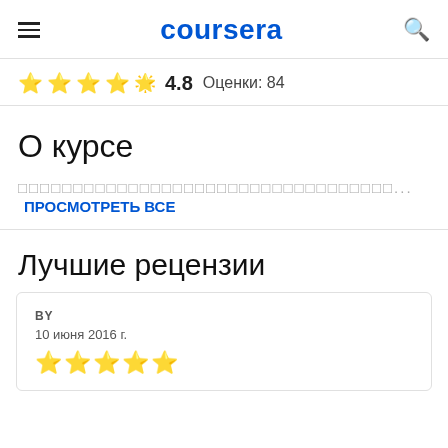coursera
★★★★½ 4.8  Оценки: 84
О курсе
□□□□□□□□□□□□□□□□□□□□□□□□□□□□□□□□□□... ПРОСМОТРЕТЬ ВСЕ
Лучшие рецензии
BY
10 июня 2016 г.
★★★★★